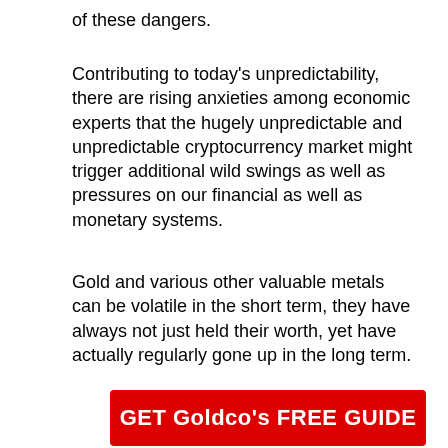of these dangers.
Contributing to today's unpredictability, there are rising anxieties among economic experts that the hugely unpredictable and unpredictable cryptocurrency market might trigger additional wild swings as well as pressures on our financial as well as monetary systems.
Gold and various other valuable metals can be volatile in the short term, they have always not just held their worth, yet have actually regularly gone up in the long term.
GET Goldco's FREE GUIDE